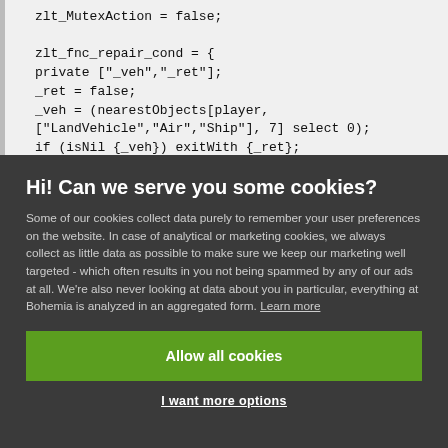zlt_MutexAction = false;

zlt_fnc_repair_cond = {
private ["_veh","_ret"];
_ret = false;
_veh = (nearestObjects[player,
["LandVehicle","Air","Ship"], 7] select 0);
if (isNil {_veh}) exitWith {_ret};
Hi! Can we serve you some cookies?
Some of our cookies collect data purely to remember your user preferences on the website. In case of analytical or marketing cookies, we always collect as little data as possible to make sure we keep our marketing well targeted - which often results in you not being spammed by any of our ads at all. We're also never looking at data about you in particular, everything at Bohemia is analyzed in an aggregated form. Learn more
Allow all cookies
I want more options